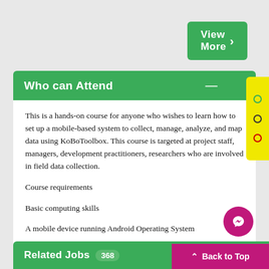View More >
Who can Attend
This is a hands-on course for anyone who wishes to learn how to set up a mobile-based system to collect, manage, analyze, and map data using KoBoToolbox. This course is targeted at project staff, managers, development practitioners, researchers who are involved in field data collection.
Course requirements
Basic computing skills
A mobile device running Android Operating System
Primary knowledge in Microsoft Excel
Access to the internet
Related Jobs 368
Back to Top